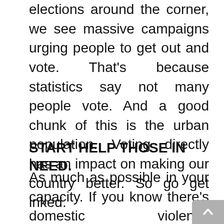As simple as that. Every time there are elections around the corner, we see massive campaigns urging people to get out and vote. That's because statistics say not many people vote. And a good chunk of this is the urban population. Voting directly has an impact on making our country better. So go get inked.
START HELP THOSE IN NEED.
As much as possible in your capacity. If you know there's domestic violence happening next door, if you find some accident victim on the road, if you know your friend is too drunk to drive; there are a lot of situations in which you can help others and avoid